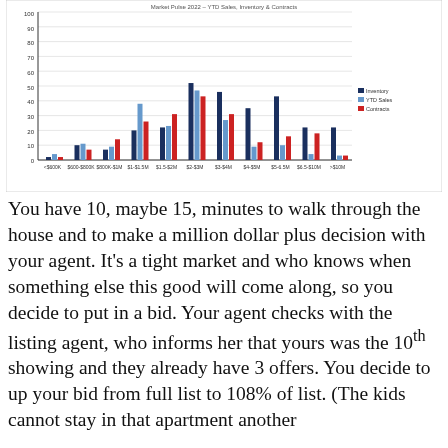[Figure (grouped-bar-chart): Market Pulse 2022 – YTD Sales, Inventory & Contracts]
You have 10, maybe 15, minutes to walk through the house and to make a million dollar plus decision with your agent. It's a tight market and who knows when something else this good will come along, so you decide to put in a bid. Your agent checks with the listing agent, who informs her that yours was the 10th showing and they already have 3 offers. You decide to up your bid from full list to 108% of list. (The kids cannot stay in that apartment another